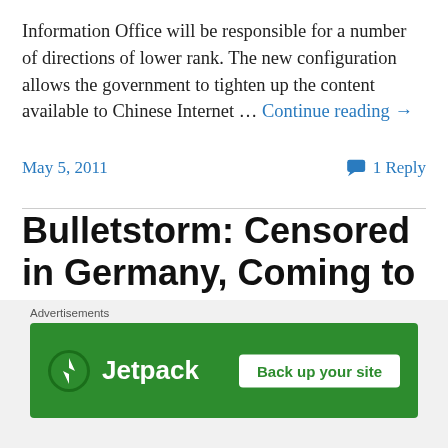Information Office will be responsible for a number of directions of lower rank. The new configuration allows the government to tighten up the content available to Chinese Internet … Continue reading →
May 5, 2011   1 Reply
Bulletstorm: Censored in Germany, Coming to America
Source: Fox News - By John Brandon   It's too violent for Germany. But it's okay for America? Yet another uberviolent video game will be unleashed on an
[Figure (other): Jetpack advertisement banner with green background, Jetpack logo and icon on the left, 'Back up your site' white button on the right. 'Advertisements' label above.]